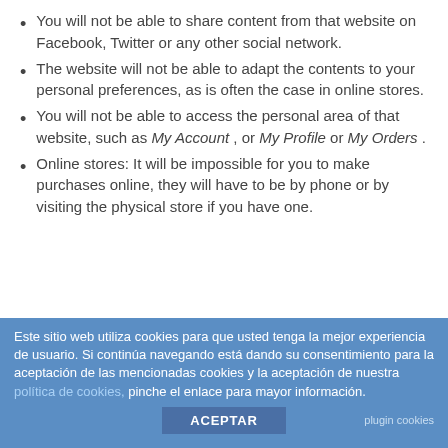You will not be able to share content from that website on Facebook, Twitter or any other social network.
The website will not be able to adapt the contents to your personal preferences, as is often the case in online stores.
You will not be able to access the personal area of that website, such as My Account , or My Profile or My Orders .
Online stores: It will be impossible for you to make purchases online, they will have to be by phone or by visiting the physical store if you have one.
Este sitio web utiliza cookies para que usted tenga la mejor experiencia de usuario. Si continúa navegando está dando su consentimiento para la aceptación de las mencionadas cookies y la aceptación de nuestra política de cookies, pinche el enlace para mayor información.
ACEPTAR
plugin cookies